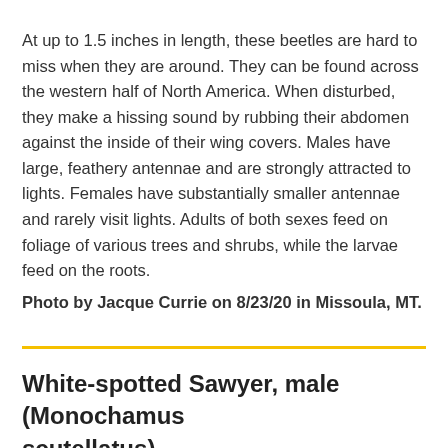At up to 1.5 inches in length, these beetles are hard to miss when they are around. They can be found across the western half of North America. When disturbed, they make a hissing sound by rubbing their abdomen against the inside of their wing covers. Males have large, feathery antennae and are strongly attracted to lights. Females have substantially smaller antennae and rarely visit lights. Adults of both sexes feed on foliage of various trees and shrubs, while the larvae feed on the roots.
Photo by Jacque Currie on 8/23/20 in Missoula, MT.
White-spotted Sawyer, male (Monochamus scutellatus)